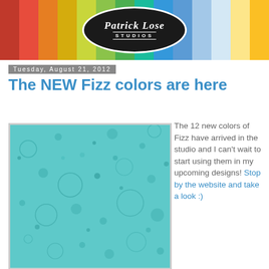[Figure (illustration): Patrick Lose Studios logo on dark oval, surrounded by colorful fabric strips (red, orange, yellow, green, blue) used as a blog header banner]
Tuesday, August 21, 2012
The NEW Fizz colors are here
[Figure (photo): Close-up photo of teal/aqua fabric with bubble circle patterns in varying sizes and shades of teal]
The 12 new colors of Fizz have arrived in the studio and I can't wait to start using them in my upcoming designs! Stop by the website and take a look :)